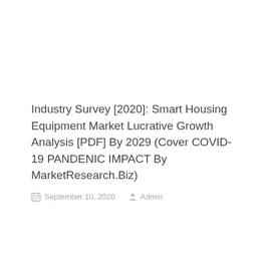Industry Survey [2020]: Smart Housing Equipment Market Lucrative Growth Analysis [PDF] By 2029 (Cover COVID-19 PANDENIC IMPACT By MarketResearch.Biz)
September 10, 2020   Admin